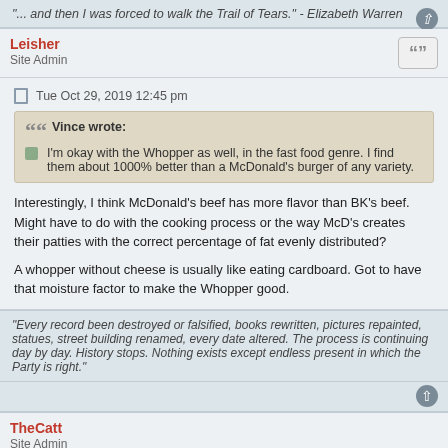"... and then I was forced to walk the Trail of Tears." - Elizabeth Warren
Leisher
Site Admin
Tue Oct 29, 2019 12:45 pm
Vince wrote:
I'm okay with the Whopper as well, in the fast food genre. I find them about 1000% better than a McDonald's burger of any variety.
Interestingly, I think McDonald's beef has more flavor than BK's beef. Might have to do with the cooking process or the way McD's creates their patties with the correct percentage of fat evenly distributed?
A whopper without cheese is usually like eating cardboard. Got to have that moisture factor to make the Whopper good.
"Every record been destroyed or falsified, books rewritten, pictures repainted, statues, street building renamed, every date altered. The process is continuing day by day. History stops. Nothing exists except endless present in which the Party is right."
TheCatt
Site Admin